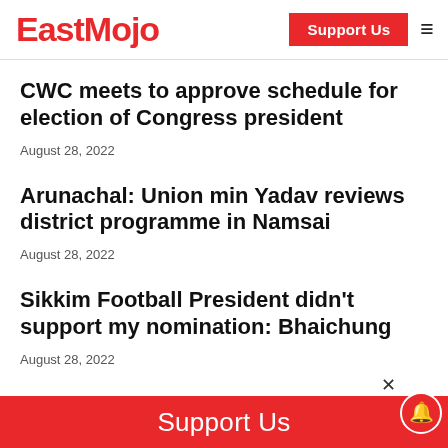EastMojo | Support Us
CWC meets to approve schedule for election of Congress president
August 28, 2022
Arunachal: Union min Yadav reviews district programme in Namsai
August 28, 2022
Sikkim Football President didn't support my nomination: Bhaichung
August 28, 2022
Mizoram: Cops arrest teacher who stripped minor of school uniform
Support Us